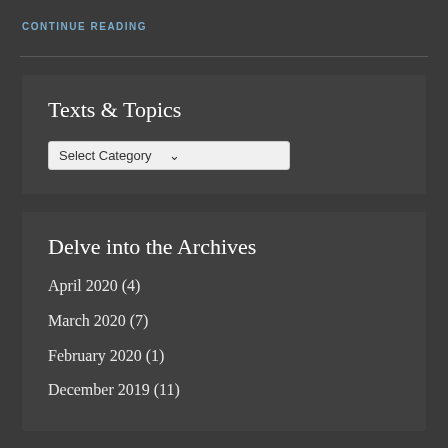CONTINUE READING
Texts & Topics
Select Category
Delve into the Archives
April 2020 (4)
March 2020 (7)
February 2020 (1)
December 2019 (11)